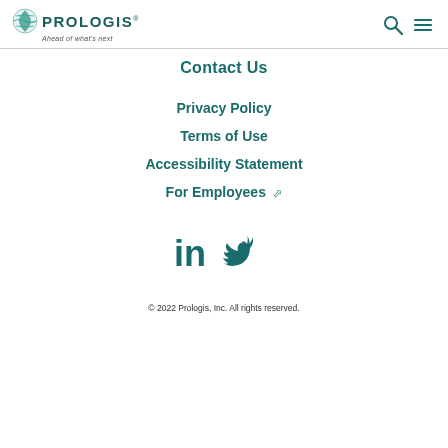PROLOGIS — Ahead of what's next
Contact Us
Privacy Policy
Terms of Use
Accessibility Statement
For Employees ↗
[Figure (other): LinkedIn and Twitter social media icons in teal color]
© 2022 Prologis, Inc. All rights reserved.